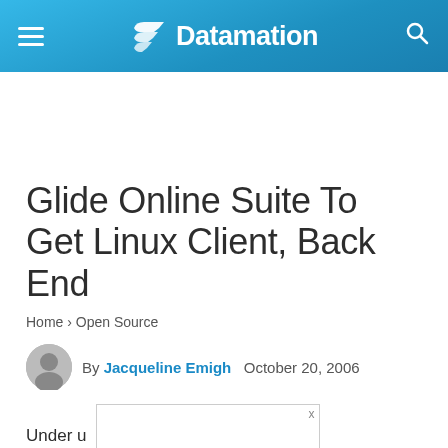Datamation
Glide Online Suite To Get Linux Client, Back End
Home › Open Source
By Jacqueline Emigh   October 20, 2006
Under u